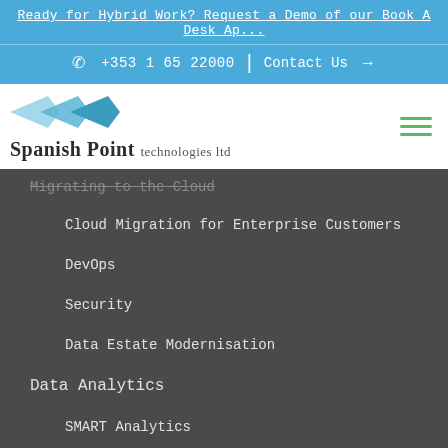Ready for Hybrid Work? Request a Demo of our Book A Desk Ap...
+353 1 65 22000 | Contact Us →
[Figure (logo): Spanish Point technologies ltd logo with blue angular graphic]
Migrating to the Cloud
Cloud Migration for Enterprise Customers
DevOps
Security
Data Estate Modernisation
Data Analytics
SMART Analytics
Dashboard in a Day
Custom Development Solutions
Solution Assessments
Support & Managed Services